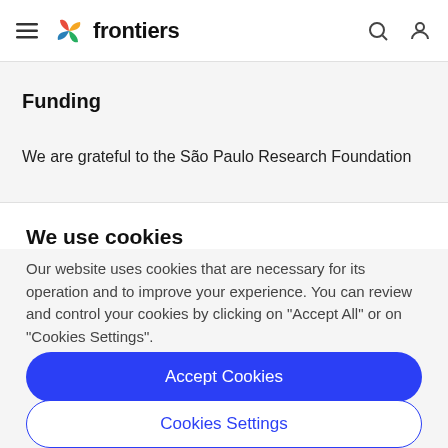frontiers
Funding
We are grateful to the São Paulo Research Foundation
We use cookies
Our website uses cookies that are necessary for its operation and to improve your experience. You can review and control your cookies by clicking on "Accept All" or on "Cookies Settings".
Accept Cookies
Cookies Settings